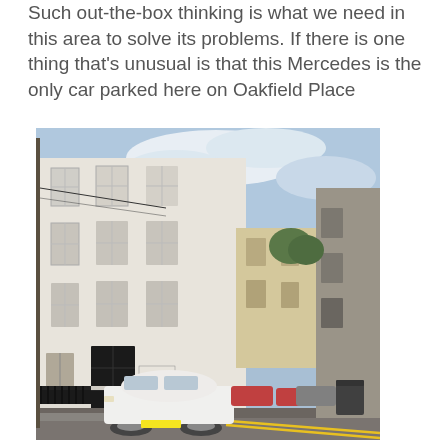Such out-the-box thinking is what we need in this area to solve its problems. If there is one thing that's unusual is that this Mercedes is the only car parked here on Oakfield Place
[Figure (photo): Street-level photograph of Oakfield Place showing a white multi-storey Georgian-style building on the left, a white Mercedes car parked on the road, and the street receding into the distance with other buildings and trees visible. Blue sky with clouds above.]